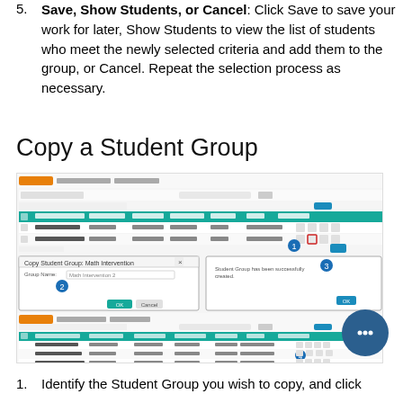5. Save, Show Students, or Cancel: Click Save to save your work for later, Show Students to view the list of students who meet the newly selected criteria and add them to the group, or Cancel. Repeat the selection process as necessary.
Copy a Student Group
[Figure (screenshot): Screenshots showing the Copy Student Group workflow: a student groups list view with a copy icon highlighted, a 'Copy Student Group: Math Intervention' dialog box with a Group Name field and OK/Cancel buttons, and a resulting updated student groups list showing three groups.]
1. Identify the Student Group you wish to copy, and click